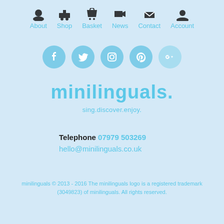About  Shop  Basket  News  Contact  Account
[Figure (infographic): Social media icon circles: Facebook, Twitter, Instagram, Pinterest, Google+]
minilinguals.
sing.discover.enjoy.
Telephone 07979 503269
hello@minilinguals.co.uk
minilinguals © 2013 - 2016 The minilinguals logo is a registered trademark (3049823) of minilinguals. All rights reserved.